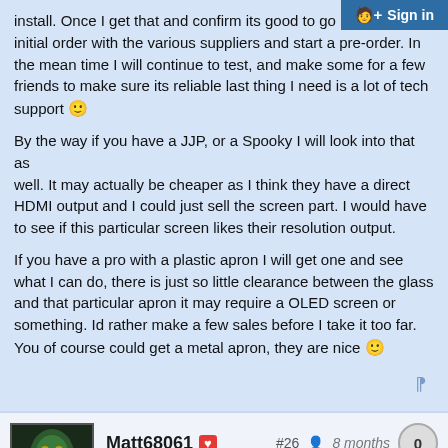install. Once I get that and confirm its good to go I will place an initial order with the various suppliers and start a pre-order. In the mean time I will continue to test, and make some for a few friends to make sure its reliable last thing I need is a lot of tech support 🙂
By the way if you have a JJP, or a Spooky I will look into that as well. It may actually be cheaper as I think they have a direct HDMI output and I could just sell the screen part. I would have to see if this particular screen likes their resolution output.
If you have a pro with a plastic apron I will get one and see what I can do, there is just so little clearance between the glass and that particular apron it may require a OLED screen or something. Id rather make a few sales before I take it too far. You of course could get a metal apron, they are nice 🙂
Matt68061 #26 8 months 0
Pinside+ Frequent
Omaha, NE
4y 36,400 86 4 11